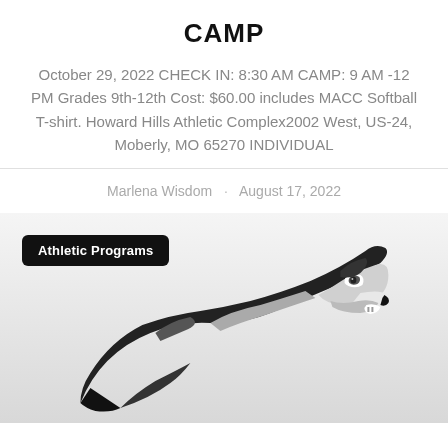CAMP
October 29, 2022 CHECK IN: 8:30 AM CAMP: 9 AM -12 PM Grades 9th-12th Cost: $60.00 includes MACC Softball T-shirt. Howard Hills Athletic Complex2002 West, US-24, Moberly, MO 65270 INDIVIDUAL
Marlena Wisdom · August 17, 2022
[Figure (illustration): Greyhound mascot logo — stylized black and grey dog head facing right with athletic aggressive expression, on a grey gradient background. A black badge in upper left reads 'Athletic Programs'.]